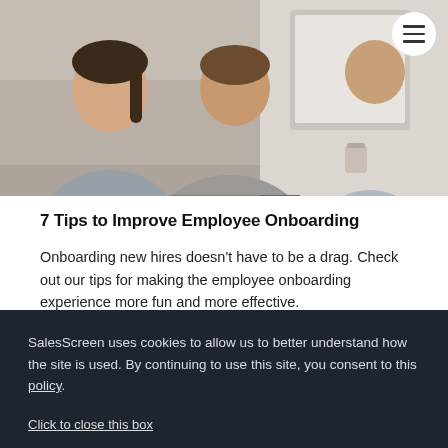[Figure (photo): Office workers collaborating around a computer monitor, showing two women in the foreground and additional colleagues in the background.]
7 Tips to Improve Employee Onboarding
Onboarding new hires doesn't have to be a drag. Check out our tips for making the employee onboarding experience more fun and more effective.
SalesScreen uses cookies to allow us to better understand how the site is used. By continuing to use this site, you consent to this policy.
Click to close this box